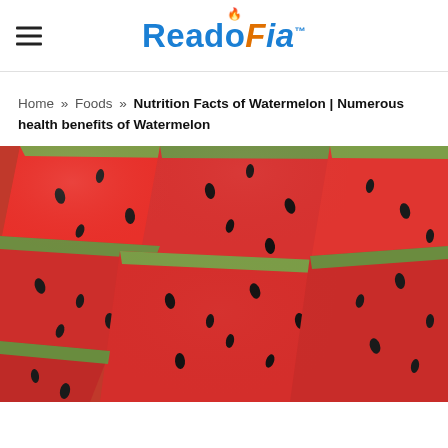ReadoFia™
Home » Foods » Nutrition Facts of Watermelon | Numerous health benefits of Watermelon
[Figure (photo): Close-up photo of multiple slices of watermelon with red flesh, black seeds, and green rind, arranged in a scattered pattern filling the entire frame.]